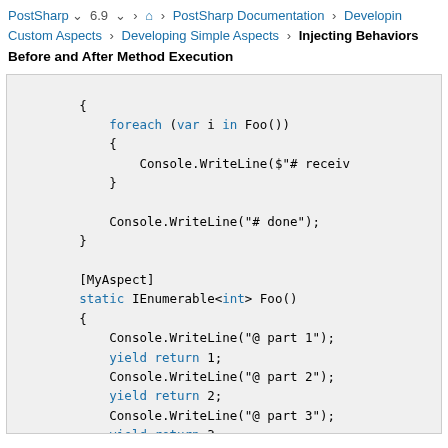PostSharp 6.9 > Home > PostSharp Documentation > Developing Custom Aspects > Developing Simple Aspects > Injecting Behaviors Before and After Method Execution
[Figure (screenshot): Code snippet showing C# code with foreach loop, Console.WriteLine calls, [MyAspect] attribute, static IEnumerable<int> Foo() method with yield return statements]